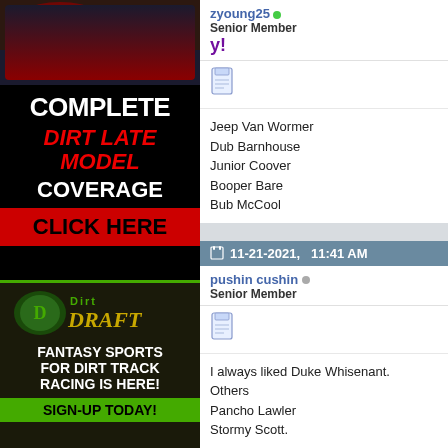[Figure (advertisement): Racing advertisement: COMPLETE DIRT LATE MODEL COVERAGE - CLICK HERE]
[Figure (advertisement): Dirt Draft fantasy sports advertisement: FANTASY SPORTS FOR DIRT TRACK RACING IS HERE! SIGN-UP TODAY!]
zyoung25
Senior Member
Jeep Van Wormer
Dub Barnhouse
Junior Coover
Booper Bare
Bub McCool
11-21-2021, 11:41 AM
pushin cushin
Senior Member
I always liked Duke Whisenant.
Others
Pancho Lawler
Stormy Scott.
Last edited by pushin cushin; 11-21-2021 at 12:21 PM.